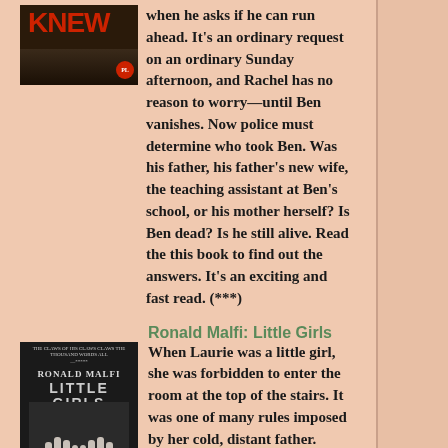when he asks if he can run ahead. It's an ordinary request on an ordinary Sunday afternoon, and Rachel has no reason to worry—until Ben vanishes. Now police must determine who took Ben. Was his father, his father's new wife, the teaching assistant at Ben's school, or his mother herself? Is Ben dead? Is he still alive. Read the this book to find out the answers. It's an exciting and fast read. (***)
Ronald Malfi: Little Girls
When Laurie was a little girl, she was forbidden to enter the room at the top of the stairs. It was one of many rules imposed by her cold, distant father. Now, in a final act of desperation, her father has exorcised his demons. But when Laurie returns to claim